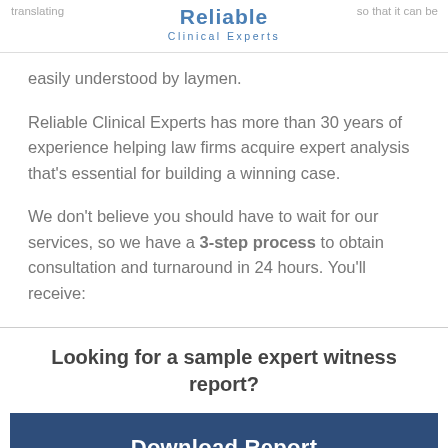Reliable Clinical Experts
translating medical terminology so that it can be easily understood by laymen.
Reliable Clinical Experts has more than 30 years of experience helping law firms acquire expert analysis that's essential for building a winning case.
We don't believe you should have to wait for our services, so we have a 3-step process to obtain consultation and turnaround in 24 hours. You'll receive:
Looking for a sample expert witness report?
Download Report